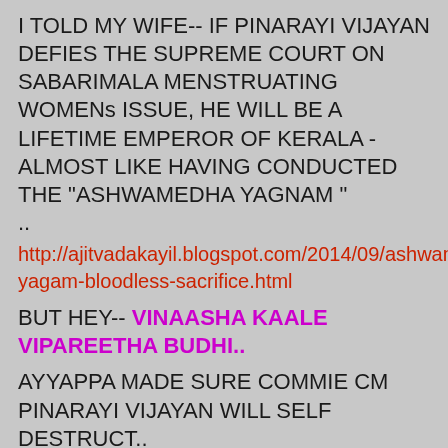I TOLD MY WIFE-- IF PINARAYI VIJAYAN DEFIES THE SUPREME COURT ON SABARIMALA MENSTRUATING WOMENs ISSUE, HE WILL BE A LIFETIME EMPEROR OF KERALA - ALMOST LIKE HAVING CONDUCTED THE "ASHWAMEDHA YAGNAM " ..
http://ajitvadakayil.blogspot.com/2014/09/ashwamedha-yagam-bloodless-sacrifice.html
BUT HEY-- VINAASHA KAALE VIPAREETHA BUDHI..
AYYAPPA MADE SURE COMMIE CM PINARAYI VIJAYAN WILL SELF DESTRUCT..
ONCE PINARAYI VIJAYAN IS OUT OF POWER FOREVER FOR GOOD -- ATHEIST SPIRITS CANNOT SAVE HIM FROM HIS PAST